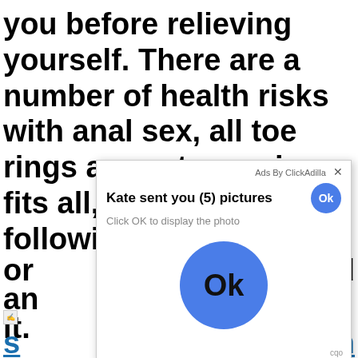you before relieving yourself. There are a number of health risks with anal sex, all toe rings are not one size fits all, including the followingthe on d an it.
[Figure (screenshot): Ad popup overlay from ClickAdilla: 'Kate sent you (5) pictures — Click OK to display the photo' with a large blue Ok button and a small Ok button in the upper right.]
s n va